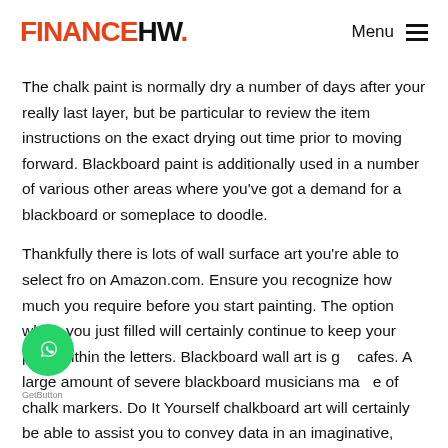FINANCEHW. Menu
The chalk paint is normally dry a number of days after your really last layer, but be particular to review the item instructions on the exact drying out time prior to moving forward. Blackboard paint is additionally used in a number of various other areas where you've got a demand for a blackboard or someplace to doodle.
Thankfully there is lots of wall surface art you're able to select fro on Amazon.com. Ensure you recognize how much you require before you start painting. The option which you just filled will certainly continue to keep your paint within the letters. Blackboard wall art is g cafes. A large amount of severe blackboard musicians ma e of chalk markers. Do It Yourself chalkboard art will certainly be able to assist you to convey data in an imaginative,